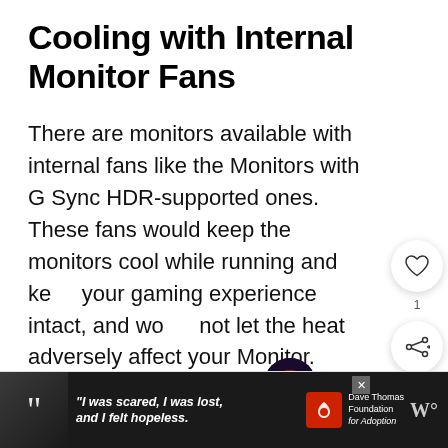Cooling with Internal Monitor Fans
There are monitors available with internal fans like the Monitors with G Sync HDR-supported ones. These fans would keep the monitors cool while running and keep your gaming experience intact, and would not let the heat adversely affect your Monitor.
[Figure (other): Social media UI overlay: heart/like button with count 1, and share button, floating on right side of content]
[Figure (other): What's Next widget showing thumbnail image with text 'WHAT'S NEXT → Do Monitors have...']
[Figure (other): Advertisement banner at bottom: black background with woman photo, quote text 'I was scared, I was lost, and I felt hopeless.' Dave Thomas Foundation for Adoption logo, close button, and W° logo]